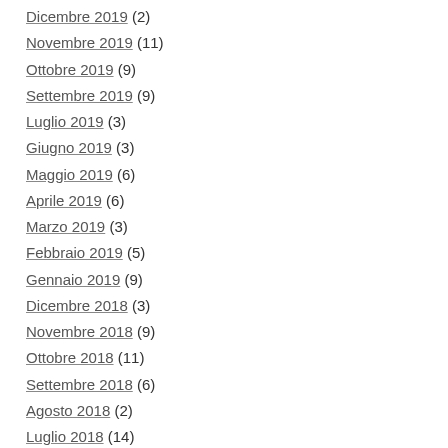Dicembre 2019 (2)
Novembre 2019 (11)
Ottobre 2019 (9)
Settembre 2019 (9)
Luglio 2019 (3)
Giugno 2019 (3)
Maggio 2019 (6)
Aprile 2019 (6)
Marzo 2019 (3)
Febbraio 2019 (5)
Gennaio 2019 (9)
Dicembre 2018 (3)
Novembre 2018 (9)
Ottobre 2018 (11)
Settembre 2018 (6)
Agosto 2018 (2)
Luglio 2018 (14)
Giugno 2018 (21)
Maggio 2018 (13)